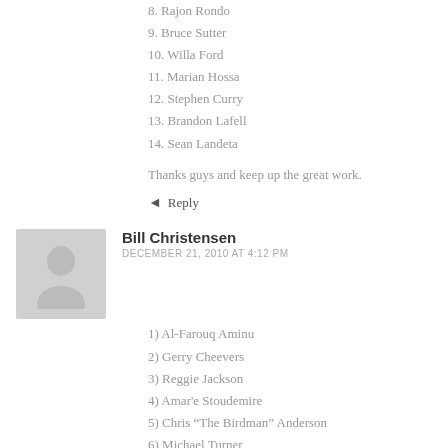8. Rajon Rondo
9. Bruce Sutter
10. Willa Ford
11. Marian Hossa
12. Stephen Curry
13. Brandon Lafell
14. Sean Landeta
Thanks guys and keep up the great work.
Reply
Bill Christensen
DECEMBER 21, 2010 AT 4:12 PM
1) Al-Farouq Aminu
2) Gerry Cheevers
3) Reggie Jackson
4) Amar'e Stoudemire
5) Chris "The Birdman" Anderson
6) Michael Turner
7) Martin Brodeur
8) Rajon Rondo
9) Bruce Sutter
10) Willa Ford
11) Marian Hossa